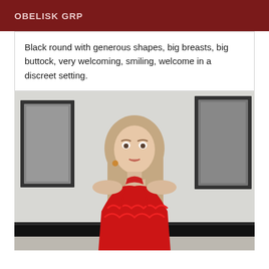OBELISK GRP
Black round with generous shapes, big breasts, big buttock, very welcoming, smiling, welcome in a discreet setting.
[Figure (photo): A woman with long blonde hair wearing a red lingerie top, posed in a room with black-and-white framed photographs on the wall behind her.]